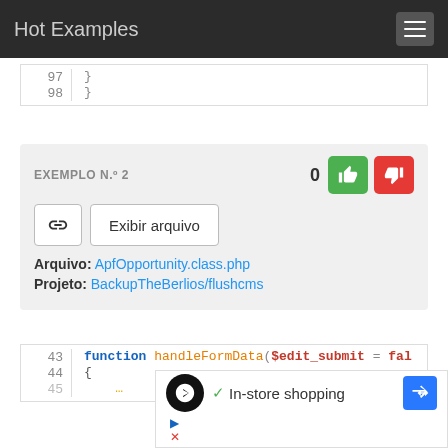Hot Examples
97    }
98  }
EXEMPLO N.º 2
Arquivo: ApfOpportunity.class.php
Projeto: BackupTheBerlios/flushcms
43  function handleFormData($edit_submit = fal
44  {
45  ...